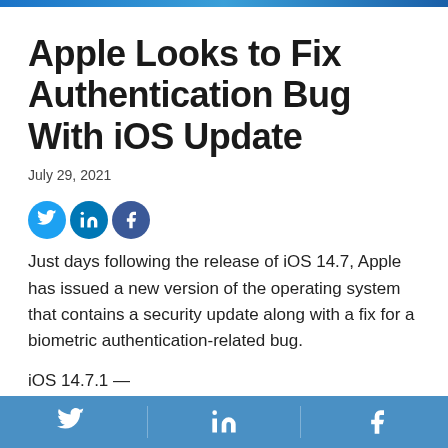Apple Looks to Fix Authentication Bug With iOS Update
July 29, 2021
[Figure (infographic): Social sharing icons: Twitter (light blue circle), LinkedIn (blue circle), Facebook (dark blue circle)]
Just days following the release of iOS 14.7, Apple has issued a new version of the operating system that contains a security update along with a fix for a biometric authentication-related bug.
iOS 14.7.1 —
Twitter | LinkedIn | Facebook social share bar